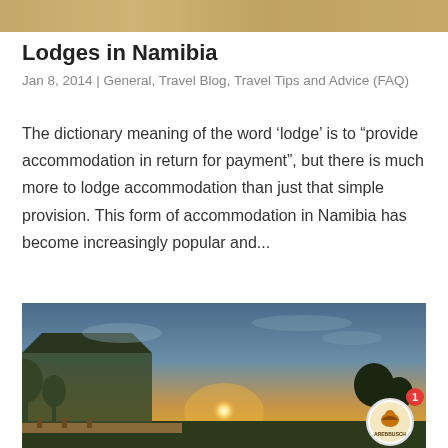[Figure (photo): Top banner image showing a warm sandy/golden textured background, partial view]
Lodges in Namibia
Jan 8, 2014 | General, Travel Blog, Travel Tips and Advice (FAQ)
The dictionary meaning of the word ‘lodge’ is to “provide accommodation in return for payment”, but there is much more to lodge accommodation than just that simple provision. This form of accommodation in Namibia has become increasingly popular and...
[Figure (photo): Sunset photo of a safari tent/lodge with a wooden deck, silhouetted trees and bushes, warm golden sky with sun near horizon. A circular badge with a bird logo and text 'AREBBUSCH' appears in the bottom right with a red notification badge showing '1'.]